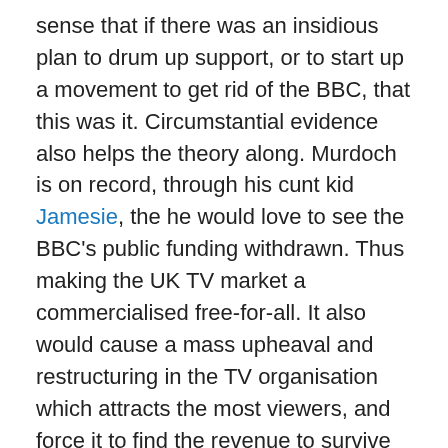sense that if there was an insidious plan to drum up support, or to start up a movement to get rid of the BBC, that this was it. Circumstantial evidence also helps the theory along. Murdoch is on record, through his cunt kid Jamesie, the he would love to see the BBC's public funding withdrawn. Thus making the UK TV market a commercialised free-for-all. It also would cause a mass upheaval and restructuring in the TV organisation which attracts the most viewers, and force it to find the revenue to survive through other means. It would have to play by the rules of others and enter into a commercially competitive arena which favours Sky's infrastructure, programming and target audience.
The fact that people seem to have forgotten, spectacularly, is the BBC news division represents only a small percentage of the BBC. The implication that it...